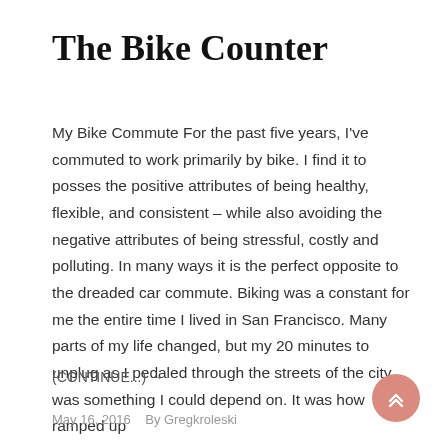The Bike Counter
My Bike Commute For the past five years, I've commuted to work primarily by bike. I find it to posses the positive attributes of being healthy, flexible, and consistent – while also avoiding the negative attributes of being stressful, costly and polluting. In many ways it is the perfect opposite to the dreaded car commute. Biking was a constant for me the entire time I lived in San Francisco. Many parts of my life changed, but my 20 minutes to unplug as I pedaled through the streets of the city was something I could depend on. It was how ramped up
(CONTINUE...) →
May 16, 2016   By Gregkroleski